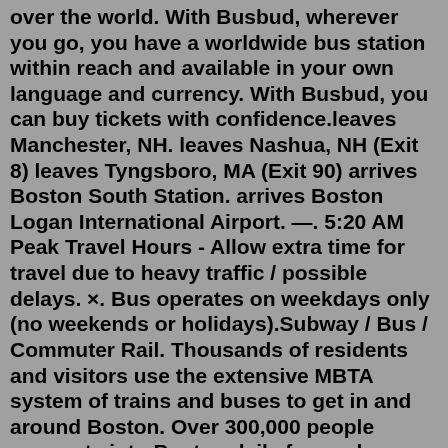over the world. With Busbud, wherever you go, you have a worldwide bus station within reach and available in your own language and currency. With Busbud, you can buy tickets with confidence.leaves Manchester, NH. leaves Nashua, NH (Exit 8) leaves Tyngsboro, MA (Exit 90) arrives Boston South Station. arrives Boston Logan International Airport. —. 5:20 AM Peak Travel Hours - Allow extra time for travel due to heavy traffic / possible delays. ×. Bus operates on weekdays only (no weekends or holidays).Subway / Bus / Commuter Rail. Thousands of residents and visitors use the extensive MBTA system of trains and buses to get in and around Boston. Over 300,000 people commute into Boston daily for work. Public transportation via bus, subway, and commuter train serves as a vital link between Downtown and surrounding neighborhoods and the greater ...Jul 18, 2022 · The 9 bus (Bloom Bus Terminal (Taunton) → Presbey Court) has 7 stops departing from Bloom Bus Terminal (Taunton) and ending in Presbey Court. 9 bus time schedule